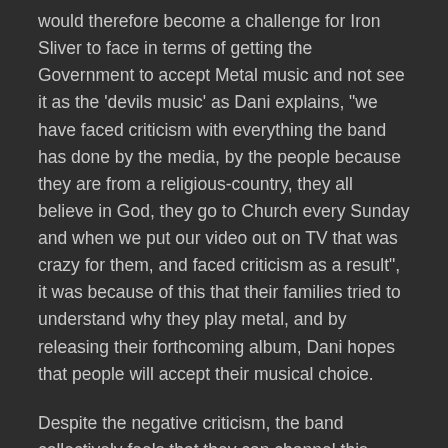would therefore become a challenge for Iron Sliver to face in terms of getting the Government to accept Metal music and not see it as the 'devils music' as Dani explains, "we have faced criticism with everything the band has done by the media, by the people because they are from a religious-country, they all believe in God, they go to Church every Sunday and when we put our video out on TV that was crazy for them, and faced criticism as a result", it was because of this that their families tried to understand why they play metal, and by releasing their forthcoming album, Dani hopes that people will accept their musical choice.
Despite the negative criticism, the band collectively feels that they can channel this through their music and produce something that will bring more positive responses towards them. After the completion of the album, the band will look to "make more things, more shows, we are going to do everything to share our music around the world, we want to show that Gabonese metal exists, so lets see what happens after the album is finished", for the band the lyrics are personal and reflect what they see, their emotions and "speak about the problems faced in Gabon"; so everyone